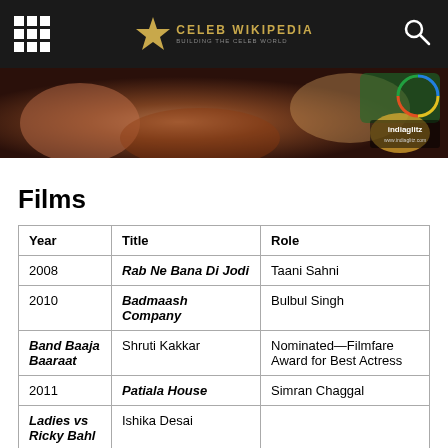Celeb Wikipedia
[Figure (screenshot): Banner image showing decorative/fashion photo with Indiaglitz watermark]
Films
| Year | Title | Role |
| --- | --- | --- |
| 2008 | Rab Ne Bana Di Jodi | Taani Sahni |
| 2010 | Badmaash Company | Bulbul Singh |
| Band Baaja Baaraat | Shruti Kakkar | Nominated—Filmfare Award for Best Actress |
| 2011 | Patiala House | Simran Chaggal |
| Ladies vs Ricky Bahl | Ishika Desai |  |